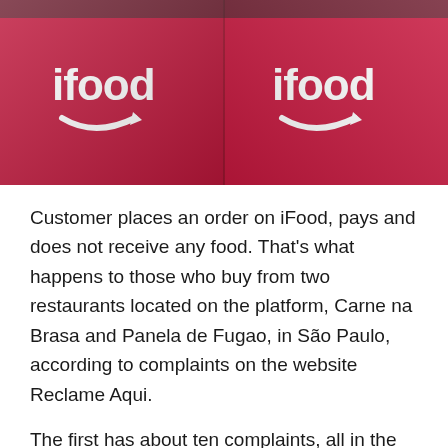[Figure (photo): Two red iFood delivery backpacks side by side, each showing the iFood logo in white with a smile/arrow icon underneath]
Customer places an order on iFood, pays and does not receive any food. That's what happens to those who buy from two restaurants located on the platform, Carne na Brasa and Panela de Fugao, in São Paulo, according to complaints on the website Reclame Aqui.
The first has about ten complaints, all in the past nine days, and the second has four complaints registered on the platform – all from this weekend. The menus of the two restaurants are identical and at low prices. At Carne na Brasa, for example, a grilled filet mignon with rice and